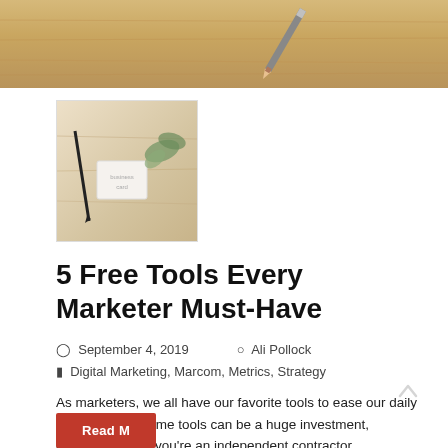[Figure (photo): Top banner photo of wooden surface with a pencil, light brown wood grain texture]
[Figure (photo): Thumbnail photo showing stationery items on a wooden desk, including a pen, a small card, and a plant]
5 Free Tools Every Marketer Must-Have
September 4, 2019   Ali Pollock
Digital Marketing, Marcom, Metrics, Strategy
As marketers, we all have our favorite tools to ease our daily workload. But some tools can be a huge investment, especially when you're an independent contractor, entrepreneur or small company that doesn't have the money to allocate for expensive methods. I'm always looking for the most efficient and affordable…